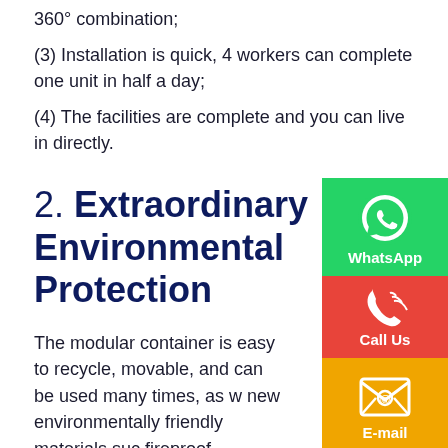360° combination;
(3) Installation is quick, 4 workers can complete one unit in half a day;
(4) The facilities are complete and you can live in directly.
2. Extraordinary Environmental Protection
The modular container is easy to recycle, movable, and can be used many times, as well as new environmentally friendly materials such as fireproof, waterproof, heat insulation, and sound insulation, so that it has a strong ability to adapt to the environment.
(1) High repetitive utilization rate, which can be recycled many times;